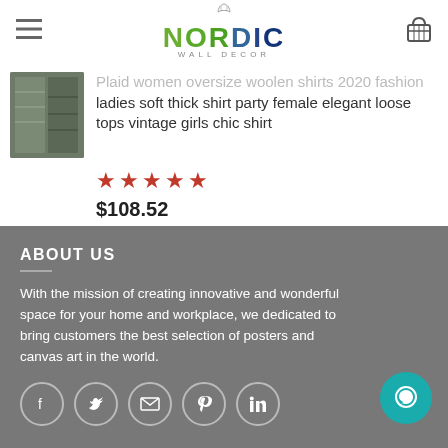NORDIC WALL DECOR
Plaid women oversize woolen shirts 2020 fashion ladies soft thick shirt party female elegant loose tops vintage girls chic shirt
★★★★★
$108.52
ABOUT US
With the mission of creating innovative and wonderful space for your home and workplace, we dedicated to bring customers the best selection of posters and canvas art in the world.